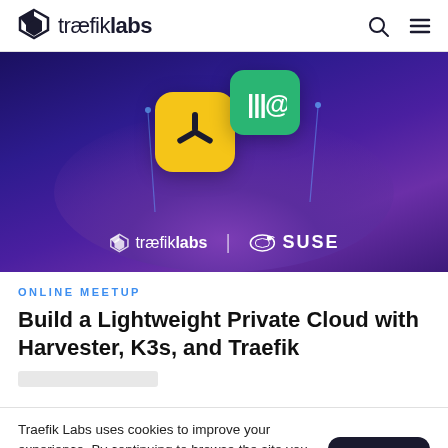traefiklabs
[Figure (illustration): Hero image with purple/blue gradient background, yellow rounded-square icon with Traefik trident logo, green rounded-square icon with text, and logos of traefiklabs and SUSE at the bottom.]
ONLINE MEETUP
Build a Lightweight Private Cloud with Harvester, K3s, and Traefik
Traefik Labs uses cookies to improve your experience. By continuing to browse the site you are agreeing to our use of cookies. Find out more in the Cookie Policy.